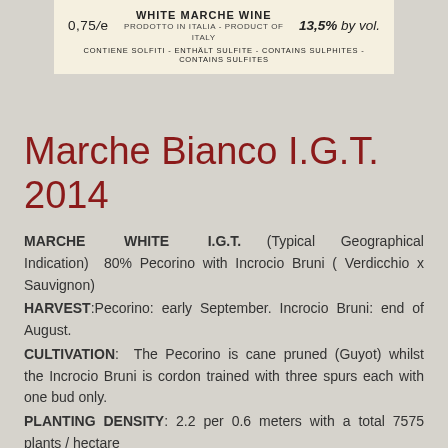[Figure (other): Wine label section showing 0,75/e volume, WHITE MARCHE WINE, PRODOTTO IN ITALIA - PRODUCT OF ITALY, 13,5% by vol., and sulfite warning in multiple languages on a cream background]
Marche Bianco I.G.T. 2014
MARCHE WHITE I.G.T. (Typical Geographical Indication) 80% Pecorino with Incrocio Bruni ( Verdicchio x Sauvignon)
HARVEST:Pecorino: early September. Incrocio Bruni: end of August.
CULTIVATION: The Pecorino is cane pruned (Guyot) whilst the Incrocio Bruni is cordon trained with three spurs each with one bud only.
PLANTING DENSITY: 2.2 per 0.6 meters with a total 7575 plants / hectare
VINIFICATION/AGEING: When the grapes arrive in the